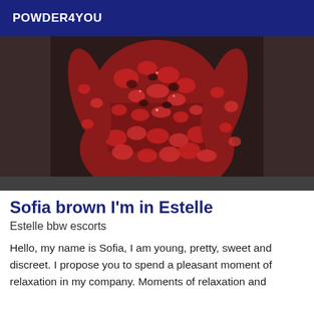POWDER4YOU
[Figure (photo): Close-up photo of a person wearing a red and black patterned bodycon dress, showing torso and arms from behind/side angle]
Sofia brown I'm in Estelle
Estelle bbw escorts
Hello, my name is Sofia, I am young, pretty, sweet and discreet. I propose you to spend a pleasant moment of relaxation in my company. Moments of relaxation and